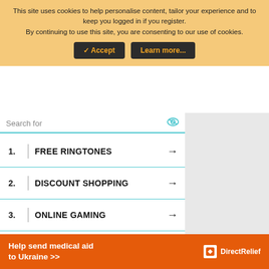This site uses cookies to help personalise content, tailor your experience and to keep you logged in if you register. By continuing to use this site, you are consenting to our use of cookies.
✓ Accept | Learn more...
Search for
1. FREE RINGTONES →
2. DISCOUNT SHOPPING →
3. ONLINE GAMING →
4. FREE CREDIT REPORT →
Help send medical aid to Ukraine >>